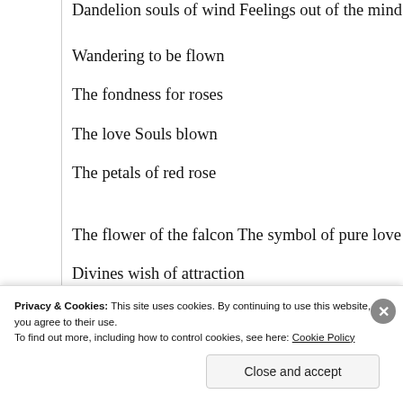Dandelion souls of wind Feelings out of the mind
Wandering to be flown
The fondness for roses
The love Souls blown
The petals of red rose
The flower of the falcon The symbol of pure love
Divines wish of attraction
Good is it's affection
Sad is it's affliction"
By @Bio-Blogger
Privacy & Cookies: This site uses cookies. By continuing to use this website, you agree to their use. To find out more, including how to control cookies, see here: Cookie Policy
Close and accept